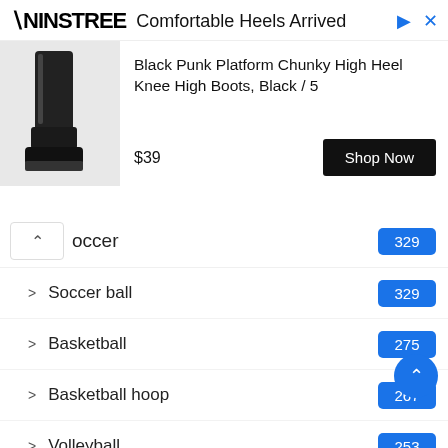[Figure (screenshot): Advertisement banner for NINSTREE showing black platform knee high boots, price $39, with Shop Now button]
Soccer 329
Soccer ball 329
Basketball 275
Basketball hoop 267
Volleyball 253
Literature 166
Badminton 133
Kickball 91
Spikeball 86
Handball 82
Tetherball 72